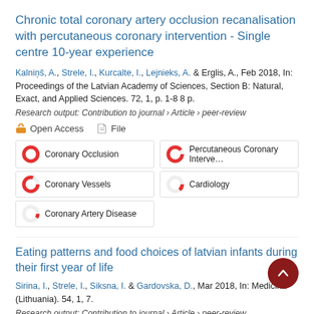Chronic total coronary artery occlusion recanalisation with percutaneous coronary intervention - Single centre 10-year experience
Kalniņš, A., Strele, I., Kurcalte, I., Lejnieks, A. & Erglis, A., Feb 2018, In: Proceedings of the Latvian Academy of Sciences, Section B: Natural, Exact, and Applied Sciences. 72, 1, p. 1-8 8 p.
Research output: Contribution to journal › Article › peer-review
Open Access   File
Coronary Occlusion | Percutaneous Coronary Intervention | Coronary Vessels | Cardiology | Coronary Artery Disease
Eating patterns and food choices of latvian infants during their first year of life
Sirina, I., Strele, I., Siksna, I. & Gardovska, D., Mar 2018, In: Medicina (Lithuania). 54, 1, 7.
Research output: Contribution to journal › Article › peer-review